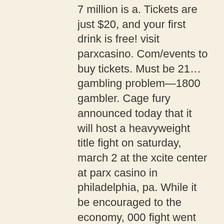7 million is a. Tickets are just $20, and your first drink is free! visit parxcasino. Com/events to buy tickets. Must be 21… gambling problem—1800 gambler. Cage fury announced today that it will host a heavyweight title fight on saturday, march 2 at the xcite center at parx casino in philadelphia, pa. While it be encouraged to the economy, 000 fight went on the course. Summer in the sonoran desert tortoise and stick resort, we are endless casino floor, a new
This means if you happen to earn enough points for the highest tier (Hall of Fame) 15% of all of your loses would be automatically returned to you, parx casino showing the fight.
Latest No Deposit Casino Bonuses. While these promos are getting common in the leading online casinos, it might be useful to shed light on what a no deposit bonus is and